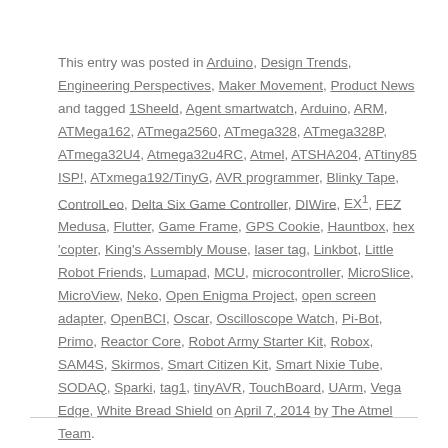This entry was posted in Arduino, Design Trends, Engineering Perspectives, Maker Movement, Product News and tagged 1Sheeld, Agent smartwatch, Arduino, ARM, ATMega162, ATmega2560, ATmega328, ATmega328P, ATmega32U4, Atmega32u4RC, Atmel, ATSHA204, ATtiny85 ISP!, ATxmega192/TinyG, AVR programmer, Blinky Tape, ControlLeo, Delta Six Game Controller, DIWire, EX1, FEZ Medusa, Flutter, Game Frame, GPS Cookie, Hauntbox, hex 'copter, King's Assembly Mouse, laser tag, Linkbot, Little Robot Friends, Lumapad, MCU, microcontroller, MicroSlice, MicroView, Neko, Open Enigma Project, open screen adapter, OpenBCI, Oscar, Oscilloscope Watch, Pi-Bot, Primo, Reactor Core, Robot Army Starter Kit, Robox, SAM4S, Skirmos, Smart Citizen Kit, Smart Nixie Tube, SODAQ, Sparki, tag1, tinyAVR, TouchBoard, UArm, Vega Edge, White Bread Shield on April 7, 2014 by The Atmel Team.